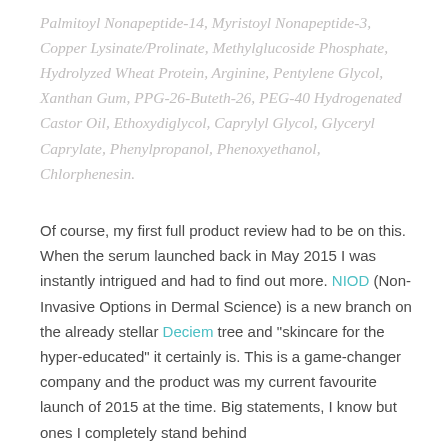Palmitoyl Nonapeptide-14, Myristoyl Nonapeptide-3, Copper Lysinate/Prolinate, Methylglucoside Phosphate, Hydrolyzed Wheat Protein, Arginine, Pentylene Glycol, Xanthan Gum, PPG-26-Buteth-26, PEG-40 Hydrogenated Castor Oil, Ethoxydiglycol, Caprylyl Glycol, Glyceryl Caprylate, Phenylpropanol, Phenoxyethanol, Chlorphenesin.
Of course, my first full product review had to be on this. When the serum launched back in May 2015 I was instantly intrigued and had to find out more. NIOD (Non-Invasive Options in Dermal Science) is a new branch on the already stellar Deciem tree and "skincare for the hyper-educated" it certainly is. This is a game-changer company and the product was my current favourite launch of 2015 at the time. Big statements, I know but ones I completely stand behind